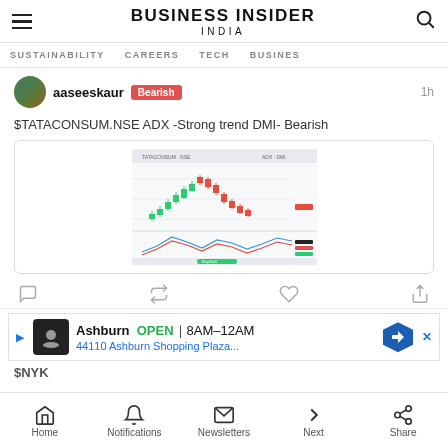BUSINESS INSIDER INDIA
SUSTAINABILITY   CAREERS   TECH   BUSINESS
aaseeskaur  Bearish  1h
$TATACONSUM.NSE ADX -Strong trend DMI- Bearish
[Figure (screenshot): A financial chart showing candlestick price data for TATACONSUM.NSE with DMI/ADX indicator below, showing bearish trend. Chart has green and red candlesticks with a downward trend, and oscillator lines below.]
Ashburn  OPEN | 8AM–12AM
44110 Ashburn Shopping Plaza...
$NYK
Home   Notifications   Newsletters   Next   Share